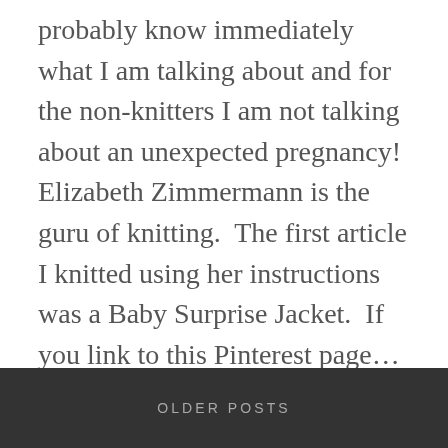probably know immediately what I am talking about and for the non-knitters I am not talking about an unexpected pregnancy! Elizabeth Zimmermann is the guru of knitting.  The first article I knitted using her instructions was a Baby Surprise Jacket.  If you link to this Pinterest page...
READ MORE
OLDER POSTS